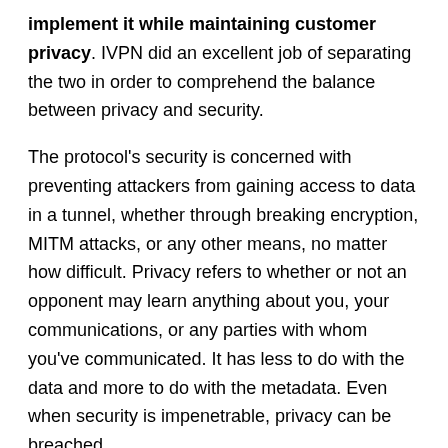implement it while maintaining customer privacy. IVPN did an excellent job of separating the two in order to comprehend the balance between privacy and security.
The protocol's security is concerned with preventing attackers from gaining access to data in a tunnel, whether through breaking encryption, MITM attacks, or any other means, no matter how difficult. Privacy refers to whether or not an opponent may learn anything about you, your communications, or any parties with whom you've communicated. It has less to do with the data and more to do with the metadata. Even when security is impenetrable, privacy can be breached.